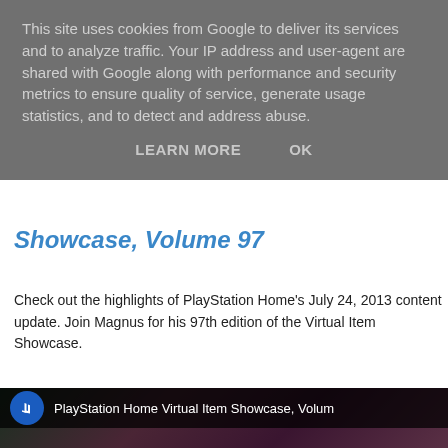This site uses cookies from Google to deliver its services and to analyze traffic. Your IP address and user-agent are shared with Google along with performance and security metrics to ensure quality of service, generate usage statistics, and to detect and address abuse.
LEARN MORE    OK
Showcase, Volume 97
Check out the highlights of PlayStation Home's July 24, 2013 content update. Join Magnus for his 97th edition of the Virtual Item Showcase.
[Figure (screenshot): YouTube video thumbnail showing PlayStation Home Virtual Item Showcase, Volume (97) with a PlayStation logo icon and a 3D character in a virtual environment]